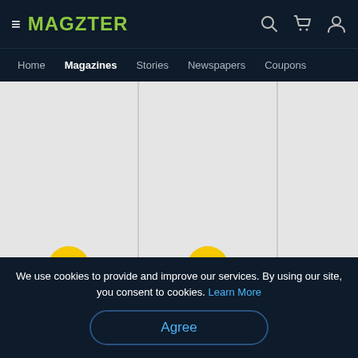MAGZTER — navigation: Home, Magazines (active), Stories, Newspapers, Coupons
[Figure (screenshot): Three magazine card thumbnails with yellow book icons: Trends, Villas&Golfe África, Viagem Es... (partially visible)]
Trends
Villas&Golfe África
Viagem Es
We use cookies to provide and improve our services. By using our site, you consent to cookies. Learn More
Agree